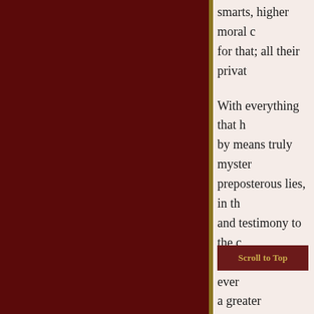smarts, higher moral c for that; all their privat
With everything that h by means truly myster preposterous lies, in th and testimony to the c be still and quiet, ever a greater accomplishm should be more like th defining and demarca true? Is it true? If it is burn falsehood. It will
One of the reasons tha most of the criticism e wher